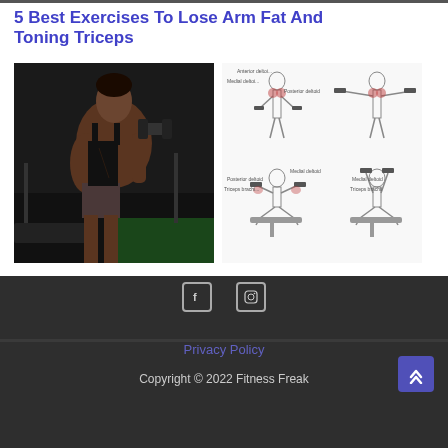5 Best Exercises To Lose Arm Fat And Toning Triceps
[Figure (photo): Muscular man doing dumbbell curl in a gym]
[Figure (illustration): Diagram of arm exercises showing lateral raise and seated dumbbell press with muscle annotations]
Privacy Policy
Copyright © 2022 Fitness Freak